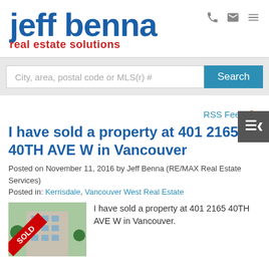[Figure (logo): Jeff Benna Real Estate Solutions logo — 'jeff benna' in large blue bold text, 'real estate solutions' in red below]
City, area, postal code or MLS(r) #
I have sold a property at 401 2165 40TH AVE W in Vancouver
Posted on November 11, 2016 by Jeff Benna (RE/MAX Real Estate Services)
Posted in: Kerrisdale, Vancouver West Real Estate
[Figure (photo): Apartment building with SOLD banner overlay, trees visible]
I have sold a property at 401 2165 40TH AVE W in Vancouver.